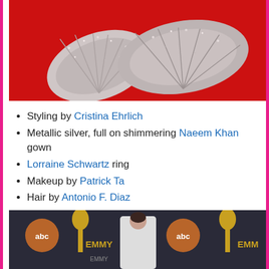[Figure (photo): Close-up of a silver metallic sparkly/feathery fabric detail on a red background]
Styling by Cristina Ehrlich
Metallic silver, full on shimmering Naeem Khan gown
Lorraine Schwartz ring
Makeup by Patrick Ta
Hair by Antonio F. Diaz
Skincare — Tracie Martyn
[Figure (photo): Woman in a white/silver gown posing on Emmy Awards red carpet with ABC and Emmy logos in the background]